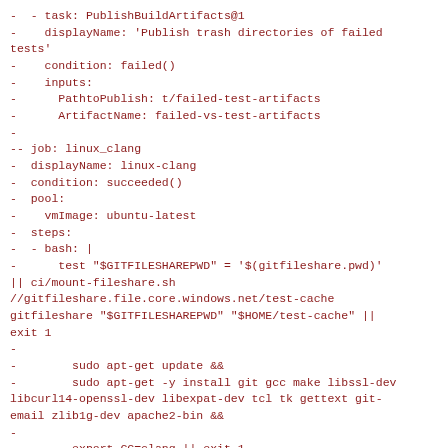-  - task: PublishBuildArtifacts@1
-    displayName: 'Publish trash directories of failed tests'
-    condition: failed()
-    inputs:
-      PathtoPublish: t/failed-test-artifacts
-      ArtifactName: failed-vs-test-artifacts
-
-- job: linux_clang
-  displayName: linux-clang
-  condition: succeeded()
-  pool:
-    vmImage: ubuntu-latest
-  steps:
-  - bash: |
-      test "$GITFILESHAREPWD" = '$(gitfileshare.pwd)' || ci/mount-fileshare.sh //gitfileshare.file.core.windows.net/test-cache gitfileshare "$GITFILESHAREPWD" "$HOME/test-cache" || exit 1
-
-        sudo apt-get update &&
-        sudo apt-get -y install git gcc make libssl-dev libcurl14-openssl-dev libexpat-dev tcl tk gettext git-email zlib1g-dev apache2-bin &&
-
-        export CC=clang || exit 1
-
-        ci/install-dependencies.sh || exit 1
-        ci/run-build-and-tests.sh || {